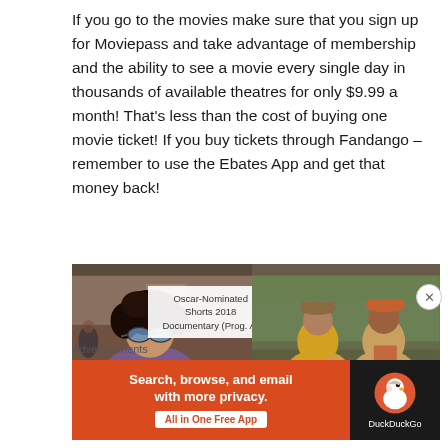If you go to the movies make sure that you sign up for Moviepass and take advantage of membership and the ability to see a movie every single day in thousands of available theatres for only $9.99 a month! That's less than the cost of buying one movie ticket! If you buy tickets through Fandango – remember to use the Ebates App and get that money back!
[Figure (photo): Two side-by-side movie images. Left: a woman with curly hair and blue sunglasses. An overlay card reads 'Oscar-Nominated Shorts 2018 Documentary (Prog. A)'. Right: two older individuals outdoors.]
Advertisements
[Figure (illustration): DuckDuckGo advertisement banner in orange/red with text 'Search, browse, and email with more privacy.' and 'All in One Free App' button, plus DuckDuckGo logo on dark background.]